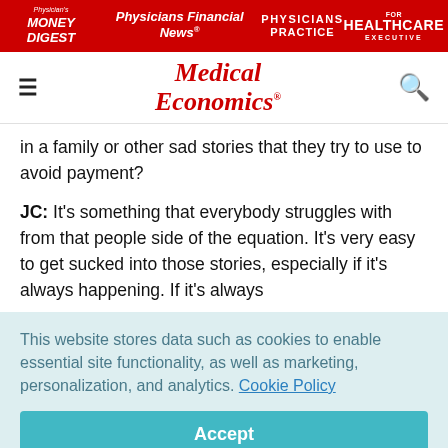Physician's Money Digest | Physicians Financial News | Physicians Practice | Healthcare Executive
Medical Economics
in a family or other sad stories that they try to use to avoid payment?
JC: It's something that everybody struggles with from that people side of the equation. It's very easy to get sucked into those stories, especially if it's always happening. If it's always
This website stores data such as cookies to enable essential site functionality, as well as marketing, personalization, and analytics. Cookie Policy
Accept
Deny